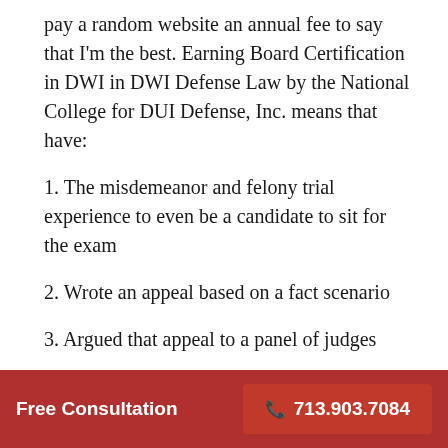pay a random website an annual fee to say that I'm the best. Earning Board Certification in DWI in DWI Defense Law by the National College for DUI Defense, Inc. means that have:
1. The misdemeanor and felony trial experience to even be a candidate to sit for the exam
2. Wrote an appeal based on a fact scenario
3. Argued that appeal to a panel of judges
Free Consultation   📞 713.903.7084